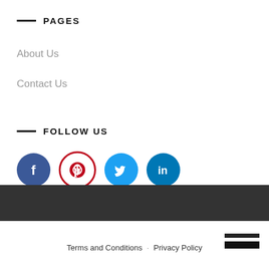PAGES
About Us
Contact Us
FOLLOW US
[Figure (infographic): Social media icons: Facebook (blue circle), Pinterest (red circle outline), Twitter (light blue circle), LinkedIn (dark blue circle)]
Terms and Conditions · Privacy Policy